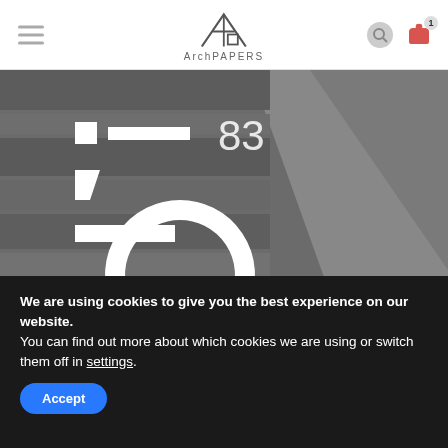ArchPAPERS
[Figure (photo): Black and white architectural photograph showing ceiling/structure with white geometric shapes overlaid — small square, rectangle, number '83', partial rectangle, partial circle outline — resembling a camera viewfinder or magazine cover graphic.]
We are using cookies to give you the best experience on our website.
You can find out more about which cookies we are using or switch them off in settings.
Accept